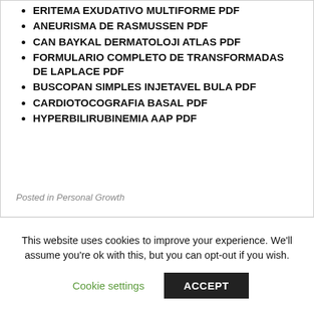ERITEMA EXUDATIVO MULTIFORME PDF
ANEURISMA DE RASMUSSEN PDF
CAN BAYKAL DERMATOLOJI ATLAS PDF
FORMULARIO COMPLETO DE TRANSFORMADAS DE LAPLACE PDF
BUSCOPAN SIMPLES INJETAVEL BULA PDF
CARDIOTOCOGRAFIA BASAL PDF
HYPERBILIRUBINEMIA AAP PDF
Posted in Personal Growth
This website uses cookies to improve your experience. We'll assume you're ok with this, but you can opt-out if you wish.